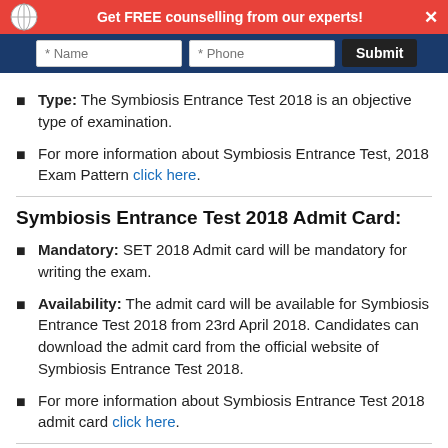[Figure (screenshot): Website banner with red bar 'Get FREE counselling from our experts!' and blue input form area with Name, Phone fields and Submit button]
Type: The Symbiosis Entrance Test 2018 is an objective type of examination.
For more information about Symbiosis Entrance Test, 2018 Exam Pattern click here.
Symbiosis Entrance Test 2018 Admit Card:
Mandatory: SET 2018 Admit card will be mandatory for writing the exam.
Availability: The admit card will be available for Symbiosis Entrance Test 2018 from 23rd April 2018. Candidates can download the admit card from the official website of Symbiosis Entrance Test 2018.
For more information about Symbiosis Entrance Test 2018 admit card click here.